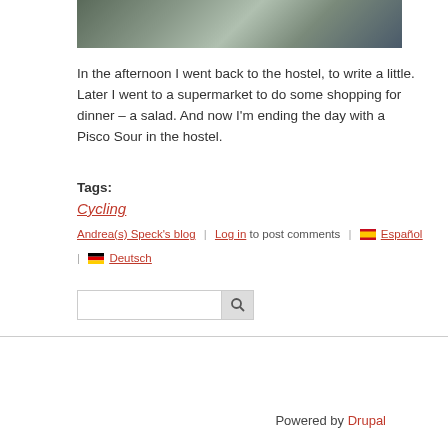[Figure (photo): Partial aerial photo of coastline with water and sand, cropped at top]
In the afternoon I went back to the hostel, to write a little. Later I went to a supermarket to do some shopping for dinner – a salad. And now I'm ending the day with a Pisco Sour in the hostel.
Tags:
Cycling
Andrea(s) Speck's blog | Log in to post comments | 🇪🇸 Español | 🇩🇪 Deutsch
[Figure (other): Search input box with search button (magnifying glass icon)]
Powered by Drupal